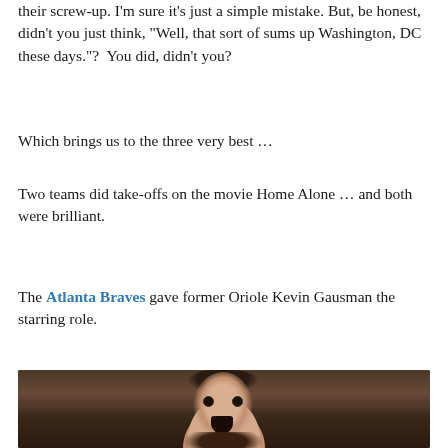their screw-up. I'm sure it's just a simple mistake. But, be honest, didn't you just think, "Well, that sort of sums up Washington, DC these days."? You did, didn't you?
Which brings us to the three very best …
Two teams did take-offs on the movie Home Alone … and both were brilliant.
The Atlanta Braves gave former Oriole Kevin Gausman the starring role.
[Figure (photo): A young man with dark hair making a shocked/surprised open-mouthed expression, resembling the Home Alone movie pose, photographed in what appears to be an indoor setting with shelving in the background.]